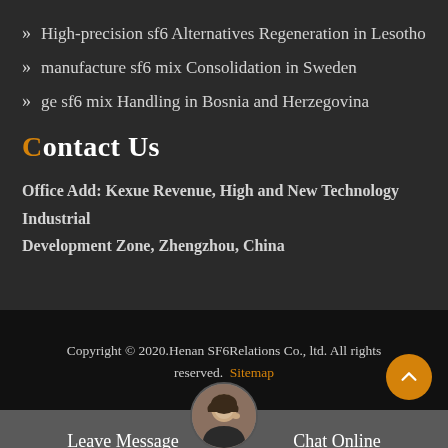» High-precision sf6 Alternatives Regeneration in Lesotho
» manufacture sf6 mix Consolidation in Sweden
» ge sf6 mix Handling in Bosnia and Herzegovina
Contact Us
Office Add: Kexue Revenue, High and New Technology Industrial Development Zone, Zhengzhou, China
Copyright © 2020.Henan SF6Relations Co., ltd. All rights reserved. Sitemap